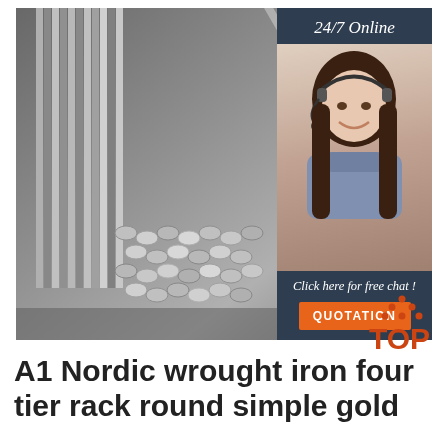[Figure (photo): Stacked bundles of round metal (aluminum/steel) bars/rods, photographed from the side showing the round cross-sections and longitudinal surfaces. The rods are silver/grey metallic. In the upper right corner there is a dark blue sidebar with '24/7 Online' text, a photo of a smiling female customer service representative wearing a headset, 'Click here for free chat!' text, and an orange 'QUOTATION' button.]
[Figure (logo): TOP logo: orange/red dotted triangle above the letters 'TOP' in orange/red, styled decorative logo in lower right of the image area.]
A1 Nordic wrought iron four tier rack round simple gold